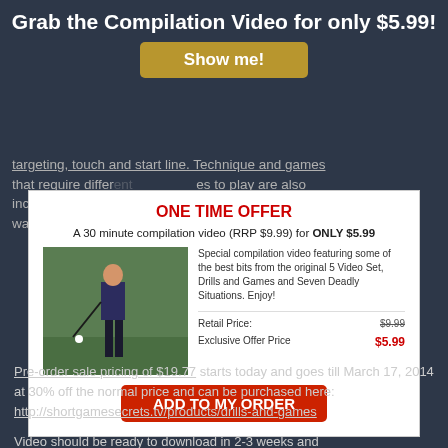Grab the Compilation Video for only $5.99!
Show me!
targeting, touch and start line. Technique and games that require different...es to play are also included...the way to make a putt...
[Figure (infographic): One Time Offer modal popup over background content. Contains golfer image, offer text, retail and exclusive prices, and Add to My Order button.]
Pre-order sale pricing of $19.77 starts today and goes till March 17, 2014 at 30% off the normal price and can be purchased here: http://shortgamesecrets.tv/products/drills-and-games
Video should be ready to download in 2-3 weeks and...